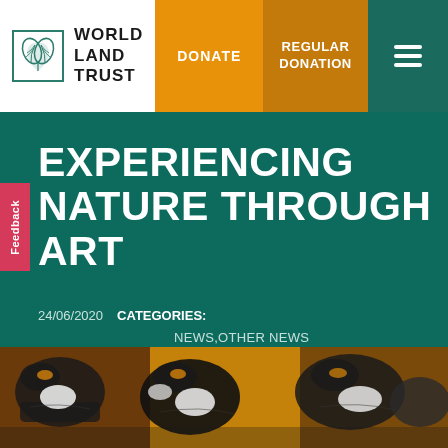[Figure (logo): World Land Trust logo with leaf icon in green bordered box and text WORLD LAND TRUST]
DONATE | REGULAR DONATION
EXPERIENCING NATURE THROUGH ART
24/06/2020   CATEGORIES: NEWS,OTHER NEWS
[Figure (photo): Close-up photograph of birds, appearing to be ducks or waterfowl, with dark and white plumage on a warm brown background]